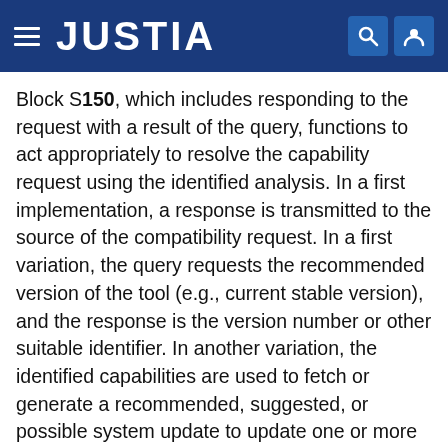JUSTIA
Block S150, which includes responding to the request with a result of the query, functions to act appropriately to resolve the capability request using the identified analysis. In a first implementation, a response is transmitted to the source of the compatibility request. In a first variation, the query requests the recommended version of the tool (e.g., current stable version), and the response is the version number or other suitable identifier. In another variation, the identified capabilities are used to fetch or generate a recommended, suggested, or possible system update to update one or more components. The update can be a vulnerability or security update. The response can be a link to the necessary updates, or alternatively, initiate a data transfer of the update. In another variation, the response includes a set of information satisfying the